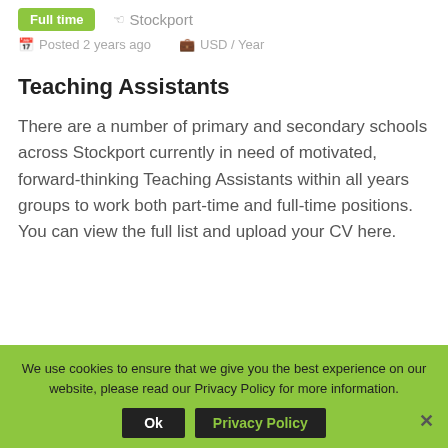Full time  Stockport
Posted 2 years ago   USD / Year
Teaching Assistants
There are a number of primary and secondary schools across Stockport currently in need of motivated, forward-thinking Teaching Assistants within all years groups to work both part-time and full-time positions. You can view the full list and upload your CV here.
We use cookies to ensure that we give you the best experience on our website, please read our Privacy Policy for more information.